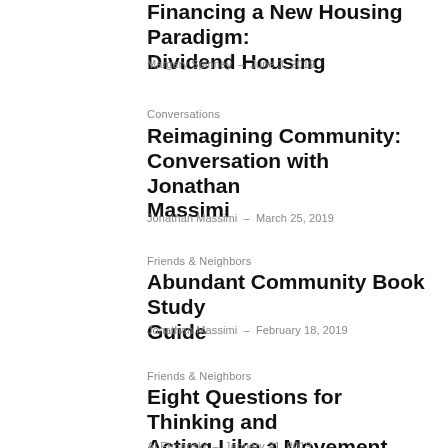Financing a New Housing Paradigm: Dividend Housing
Margery Spinney - June 3, 2019
Conversations
Reimagining Community: Conversation with Jonathan Massimi
Jonathan Massimi - March 25, 2019
Friends & Neighbors
Abundant Community Book Study Guide
Jonathan Massimi - February 18, 2019
Friends & Neighbors
Eight Questions for Thinking and Acting Like a Movement
Al Etmanski - January 21, 2019